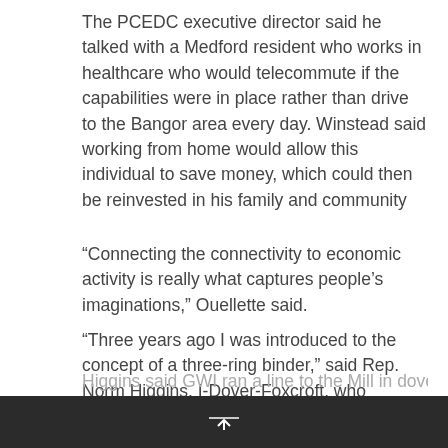The PCEDC executive director said he talked with a Medford resident who works in healthcare who would telecommute if the capabilities were in place rather than drive to the Bangor area every day. Winstead said working from home would allow this individual to save money, which could then be reinvested in his family and community
“Connecting the connectivity to economic activity is really what captures people’s imaginations,” Ouellette said.
“Three years ago I was introduced to the concept of a three-ring binder,” said Rep. Norm Higgins, I-Dover-Foxcroft, who Winstead said helped secure the $120,000 for the regional planning grant. Higgins compared not accessing the high speed capabilities of the three-ring binder to constructing the Interstate Highway System and not building any off ramps.
Higgins said GWI ran a line to the Mill in dover...